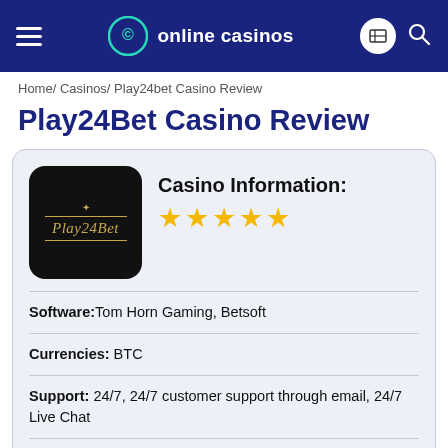≡  online casinos
Home/ Casinos/ Play24bet Casino Review
Play24Bet Casino Review
[Figure (logo): Play24Bet casino logo — black rounded square with gold Play24Bet text and decorative gold line]
Casino Information:
★★★★★ (5 stars)
Software: Tom Horn Gaming, Betsoft
Currencies: BTC
Support: 24/7, 24/7 customer support through email, 24/7 Live Chat
Welcome Bonus: 400% Match Bonus